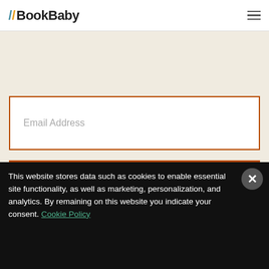BookBaby
[Figure (screenshot): Email Address input field with orange border]
[Figure (screenshot): Sign me up! button in dark orange/brown color]
FAQ
This website stores data such as cookies to enable essential site functionality, as well as marketing, personalization, and analytics. By remaining on this website you indicate your consent. Cookie Policy